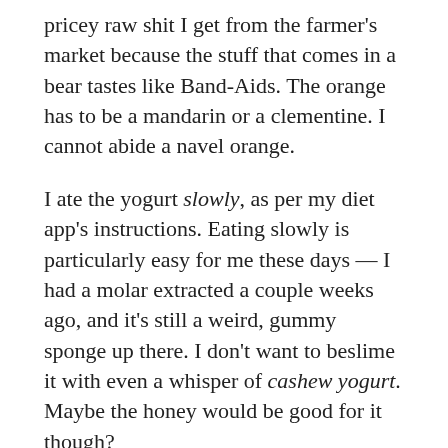pricey raw shit I get from the farmer's market because the stuff that comes in a bear tastes like Band-Aids. The orange has to be a mandarin or a clementine. I cannot abide a navel orange.
I ate the yogurt slowly, as per my diet app's instructions. Eating slowly is particularly easy for me these days — I had a molar extracted a couple weeks ago, and it's still a weird, gummy sponge up there. I don't want to beslime it with even a whisper of cashew yogurt. Maybe the honey would be good for it though?
By two, I was hungry again. I wasn't sure if this was level-three hunger or level-three worry and procrastination manifesting itself as a tummy rumble, but I figured I might as well throw food at the problem and find out. Plan: bike to the coffee shop?